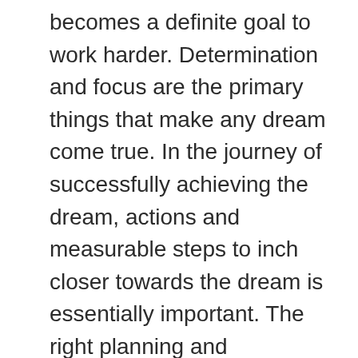becomes a definite goal to work harder. Determination and focus are the primary things that make any dream come true. In the journey of successfully achieving the dream, actions and measurable steps to inch closer towards the dream is essentially important. The right planning and maintaining positivity throughout shall bring success.